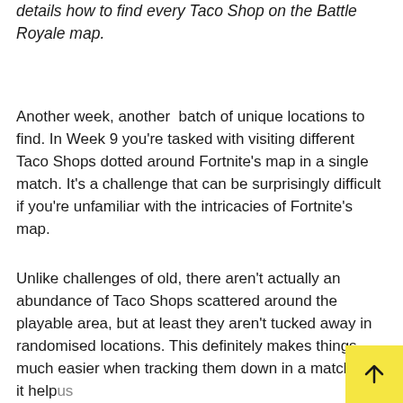details how to find every Taco Shop on the Battle Royale map.
Another week, another batch of unique locations to find. In Week 9 you're tasked with visiting different Taco Shops dotted around Fortnite's map in a single match. It's a challenge that can be surprisingly difficult if you're unfamiliar with the intricacies of Fortnite's map.
Unlike challenges of old, there aren't actually an abundance of Taco Shops scattered around the playable area, but at least they aren't tucked away in randomised locations. This definitely makes things much easier when tracking them down in a match, and it help us